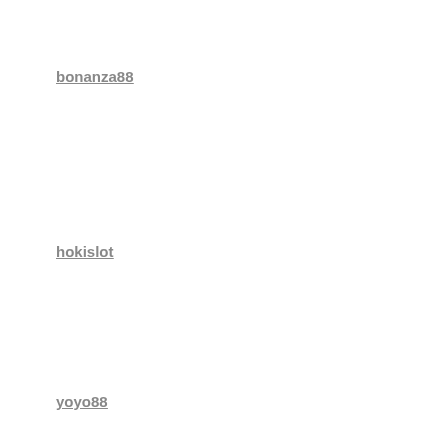bonanza88
hokislot
yoyo88
Poker Online
judi slot
Slot gacor